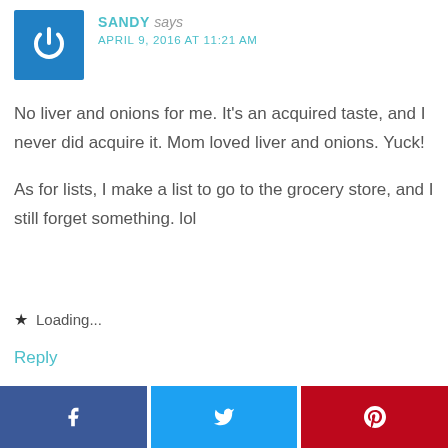[Figure (logo): Blue square avatar with white power button icon]
SANDY says
APRIL 9, 2016 AT 11:21 AM
No liver and onions for me. It’s an acquired taste, and I never did acquire it. Mom loved liver and onions. Yuck!
As for lists, I make a list to go to the grocery store, and I still forget something. lol
★ Loading...
Reply
[Figure (other): Social share buttons: Facebook, Twitter, Pinterest]